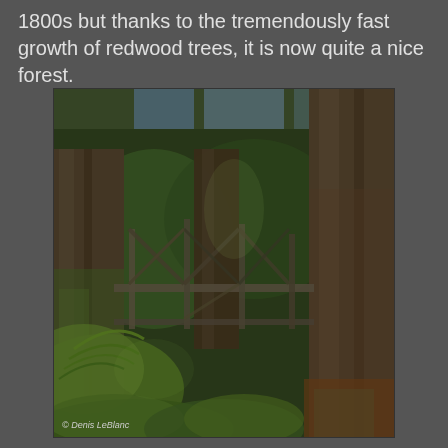1800s but thanks to the tremendously fast growth of redwood trees, it is now quite a nice forest.
[Figure (photo): HDR photograph of a redwood forest with tall moss-covered tree trunks and an old wooden trestle bridge structure visible in the background, surrounded by lush green ferns and foliage. Photo credit: © Denis LeBlanc]